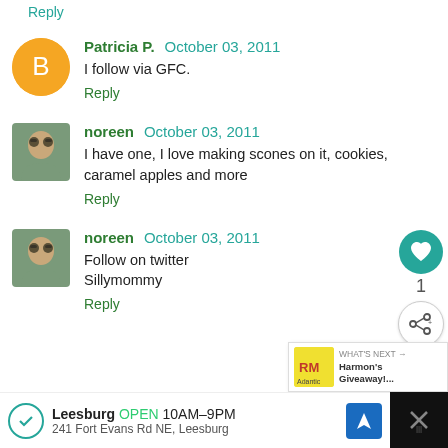Reply
Patricia P.  October 03, 2011
I follow via GFC.
Reply
noreen  October 03, 2011
I have one, I love making scones on it, cookies, caramel apples and more
Reply
noreen  October 03, 2011
Follow on twitter Sillymommy
Reply
WHAT'S NEXT → Harmon's Giveaway!...
Leesburg OPEN 10AM–9PM 241 Fort Evans Rd NE, Leesburg